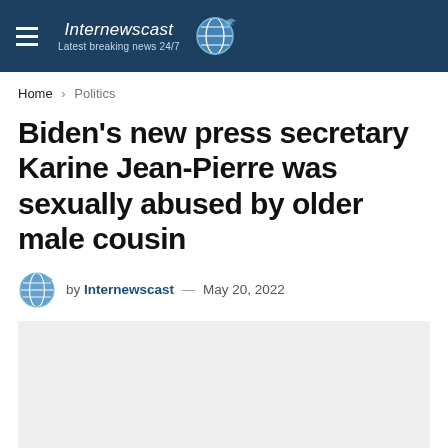Internewscast — Latest breaking news 24/7
Home > Politics
Biden's new press secretary Karine Jean-Pierre was sexually abused by older male cousin
by Internewscast — May 20, 2022
[Figure (photo): Gray placeholder image block]